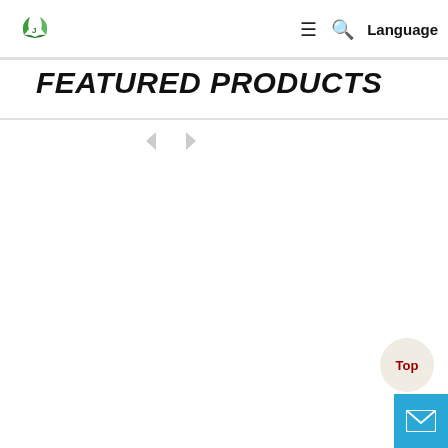[Figure (logo): Green tree/recycling icon logo in top-left corner of the navigation header]
≡  🔍  Language
FEATURED PRODUCTS
[Figure (other): Carousel navigation arrows (left and right) in grey, indicating a product carousel slider]
[Figure (other): Top button - circular beige button with red bold 'Top' text]
[Figure (other): Mail/contact button - light blue square button with white envelope icon]